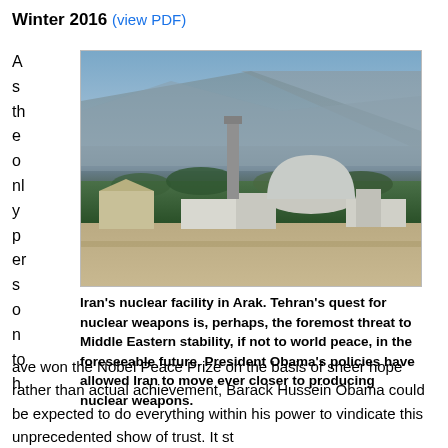Winter 2016 (view PDF)
As the onlypers on to h
[Figure (photo): Iran's nuclear facility in Arak showing a large dome structure, a tall chimney/tower, surrounding buildings and trees, with mountains in the background.]
Iran's nuclear facility in Arak. Tehran's quest for nuclear weapons is, perhaps, the foremost threat to Middle Eastern stability, if not to world peace, in the foreseeable future. President Obama's policies have allowed Iran to move ever closer to producing nuclear weapons.
ave won the Nobel Peace Prize on the basis of sheer hope rather than actual achievement, Barack Hussein Obama could be expected to do everything within his power to vindicate this unprecedented show of trust. It st...